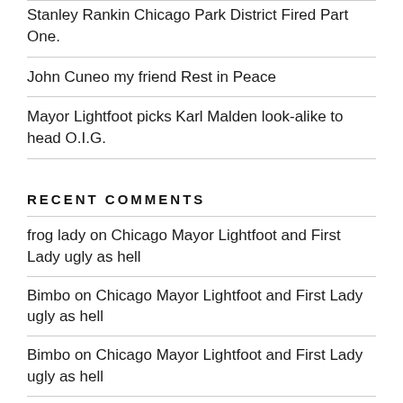Stanley Rankin Chicago Park District Fired Part One.
John Cuneo my friend Rest in Peace
Mayor Lightfoot picks Karl Malden look-alike to head O.I.G.
RECENT COMMENTS
frog lady on Chicago Mayor Lightfoot and First Lady ugly as hell
Bimbo on Chicago Mayor Lightfoot and First Lady ugly as hell
Bimbo on Chicago Mayor Lightfoot and First Lady ugly as hell
Matt-Chewy on Andersonville Residents help 19th Ward